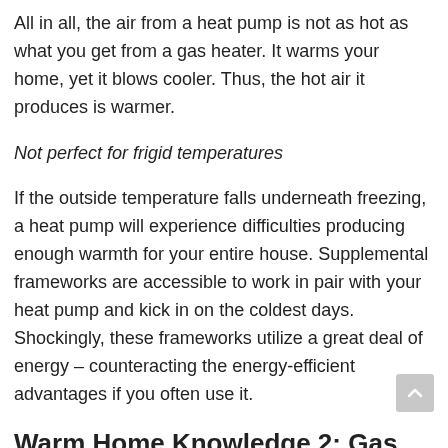All in all, the air from a heat pump is not as hot as what you get from a gas heater. It warms your home, yet it blows cooler. Thus, the hot air it produces is warmer.
Not perfect for frigid temperatures
If the outside temperature falls underneath freezing, a heat pump will experience difficulties producing enough warmth for your entire house. Supplemental frameworks are accessible to work in pair with your heat pump and kick in on the coldest days. Shockingly, these frameworks utilize a great deal of energy – counteracting the energy-efficient advantages if you often use it.
Warm Home Knowledge 2: Gas